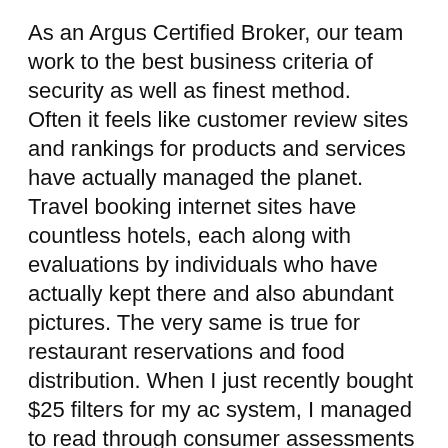As an Argus Certified Broker, our team work to the best business criteria of security as well as finest method.
Often it feels like customer review sites and rankings for products and services have actually managed the planet. Travel booking internet sites have countless hotels, each along with evaluations by individuals who have actually kept there and also abundant pictures. The very same is true for restaurant reservations and food distribution. When I just recently bought $25 filters for my ac system, I managed to read through consumer assessments regarding lots of websites.
However, if you schedule a private jet charter setting you back tons of countless